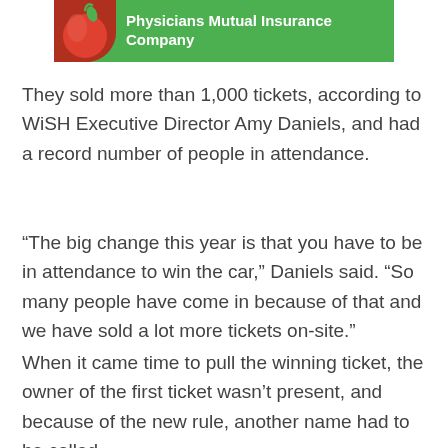[Figure (logo): Physicians Mutual Insurance Company logo banner with green background and red apple image on left, white bold text reading 'Physicians Mutual Insurance Company']
They sold more than 1,000 tickets, according to WiSH Executive Director Amy Daniels, and had a record number of people in attendance.
“The big change this year is that you have to be in attendance to win the car,” Daniels said. “So many people have come in because of that and we have sold a lot more tickets on-site.”
When it came time to pull the winning ticket, the owner of the first ticket wasn’t present, and because of the new rule, another name had to be called.